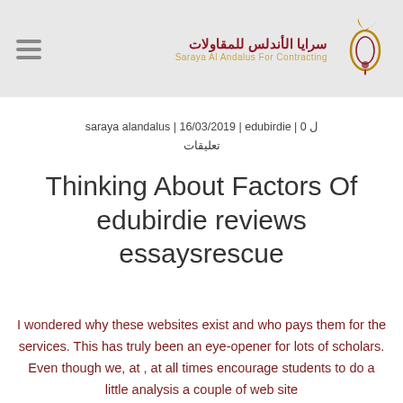saraya alandalus | Saraya Al Andalus For Contracting logo
saraya alandalus | 16/03/2019 | edubirdie | 0 تعليقات
Thinking About Factors Of edubirdie reviews essaysrescue
I wondered why these websites exist and who pays them for the services. This has truly been an eye-opener for lots of scholars. Even though we, at , at all times encourage students to do a little analysis a couple of web site